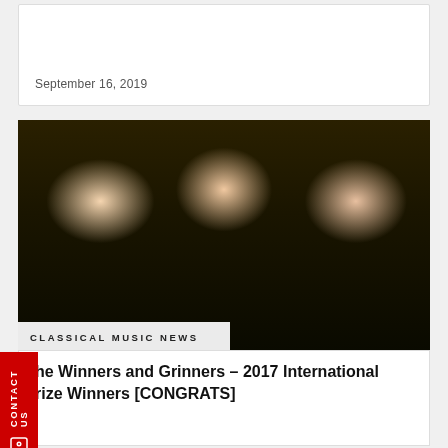September 16, 2019
[Figure (photo): Three people smiling at a formal event, two women and one man, against a dark interior background. Overlaid with 'CLASSICAL MUSIC NEWS' label.]
CLASSICAL MUSIC NEWS
he Winners and Grinners – 2017 International rize Winners [CONGRATS]